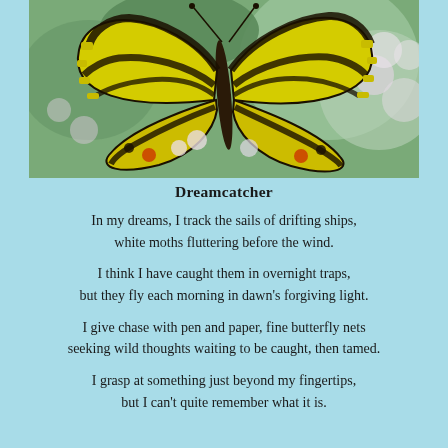[Figure (photo): Close-up photograph of a yellow and black swallowtail butterfly perched on light purple/white flowers with green leaves in the background.]
Dreamcatcher
In my dreams, I track the sails of drifting ships,
white moths fluttering before the wind.

I think I have caught them in overnight traps,
but they fly each morning in dawn's forgiving light.

I give chase with pen and paper, fine butterfly nets
seeking wild thoughts waiting to be caught, then tamed.

I grasp at something just beyond my fingertips,
but I can't quite remember what it is.